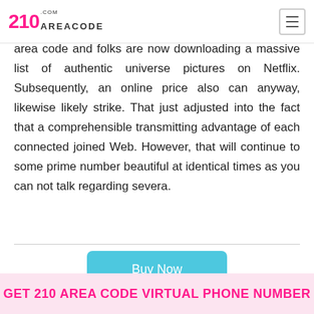210 AREACODE.com
area code and folks are now downloading a massive list of authentic universe pictures on Netflix. Subsequently, an online price also can anyway, likewise likely strike. That just adjusted into the fact that a comprehensible transmitting advantage of each connected joined Web. However, that will continue to some prime number beautiful at identical times as you can not talk regarding severa.
Buy Now
GET 210 AREA CODE VIRTUAL PHONE NUMBER